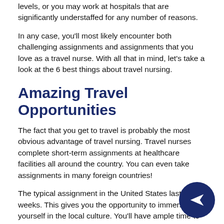levels, or you may work at hospitals that are significantly understaffed for any number of reasons.
In any case, you'll most likely encounter both challenging assignments and assignments that you love as a travel nurse. With all that in mind, let's take a look at the 6 best things about travel nursing.
Amazing Travel Opportunities
The fact that you get to travel is probably the most obvious advantage of travel nursing. Travel nurses complete short-term assignments at healthcare facilities all around the country. You can even take assignments in many foreign countries!
The typical assignment in the United States lasts 13 weeks. This gives you the opportunity to immerse yourself in the local culture. You'll have ample time to explore all that any given location has to offer.
Often, healthcare facilities will offer contract extensions. If you're having a great time in a particular location, then this may be an opportunity to stick around for an additional 13